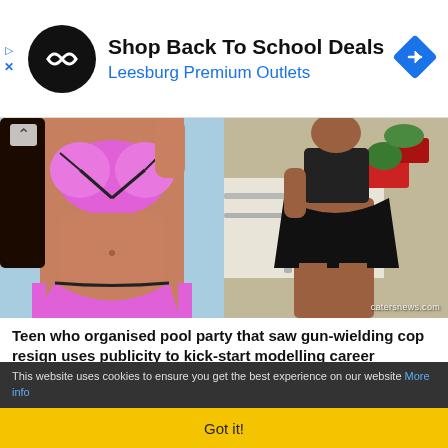[Figure (infographic): Advertisement banner for Leesburg Premium Outlets with black circular logo, arrow icon, headline 'Shop Back To School Deals' and subtitle 'Leesburg Premium Outlets' in blue]
[Figure (photo): Two side-by-side photos of a teenager in a pink bikini and black outfit, watermarked catersnews.com, with an up-arrow overlay]
Teen who organised pool party that saw gun-wielding cop resign uses publicity to kick-start modelling career
The girl who arranged an infamous pool party – which saw a cop resign for slamming a teenager to the ground and pulling out his gun – is h… read more>>
This website uses cookies to ensure you get the best experience on our website More info
Got it!